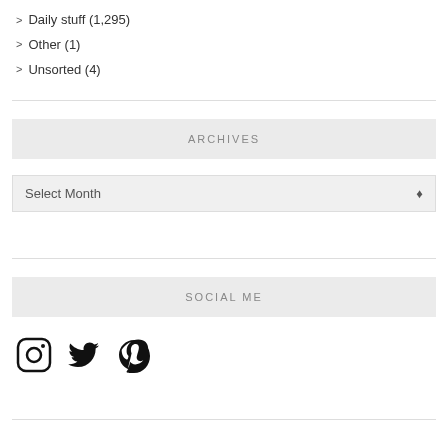> Daily stuff (1,295)
> Other (1)
> Unsorted (4)
ARCHIVES
Select Month
SOCIAL ME
[Figure (illustration): Social media icons: Instagram, Twitter, Pinterest]